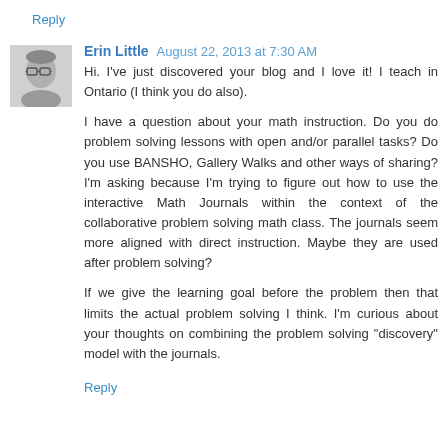Reply
Erin Little  August 22, 2013 at 7:30 AM
Hi. I've just discovered your blog and I love it! I teach in Ontario (I think you do also).
I have a question about your math instruction. Do you do problem solving lessons with open and/or parallel tasks? Do you use BANSHO, Gallery Walks and other ways of sharing? I'm asking because I'm trying to figure out how to use the interactive Math Journals within the context of the collaborative problem solving math class. The journals seem more aligned with direct instruction. Maybe they are used after problem solving?
If we give the learning goal before the problem then that limits the actual problem solving I think. I'm curious about your thoughts on combining the problem solving "discovery" model with the journals.
Reply